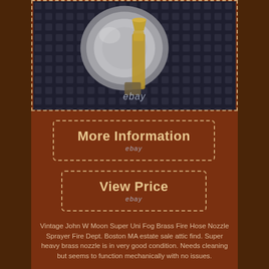[Figure (photo): Vintage John W Moon Super Uni Fog Brass Fire Hose Nozzle Sprayer, shown on dark metal mesh background with eBay watermark]
More Information
ebay
View Price
ebay
Vintage John W Moon Super Uni Fog Brass Fire Hose Nozzle Sprayer Fire Dept. Boston MA estate sale attic find. Super heavy brass nozzle is in very good condition. Needs cleaning but seems to function mechanically with no issues.